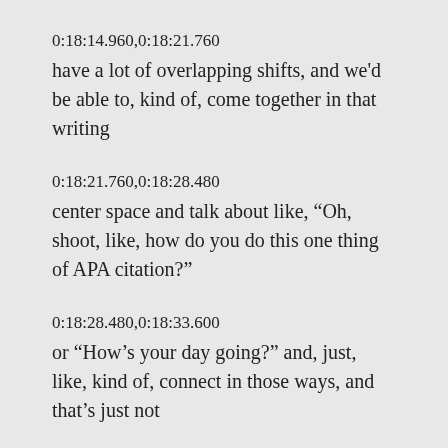0:18:14.960,0:18:21.760
have a lot of overlapping shifts, and we'd be able to, kind of, come together in that writing
0:18:21.760,0:18:28.480
center space and talk about like, “Oh, shoot, like, how do you do this one thing of APA citation?”
0:18:28.480,0:18:33.600
or “How’s your day going?” and, just, like, kind of, connect in those ways, and that’s just not
0:18:33.600,0:18:39.280